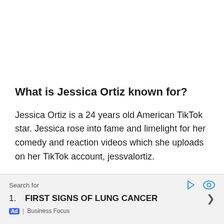What is Jessica Ortiz known for?
Jessica Ortiz is a 24 years old American TikTok star. Jessica rose into fame and limelight for her comedy and reaction videos which she uploads on her TikTok account, jessvalortiz.
Moreover, Jessica started out on TikTok just for fun and
Search for
1. FIRST SIGNS OF LUNG CANCER
Ad | Business Focus